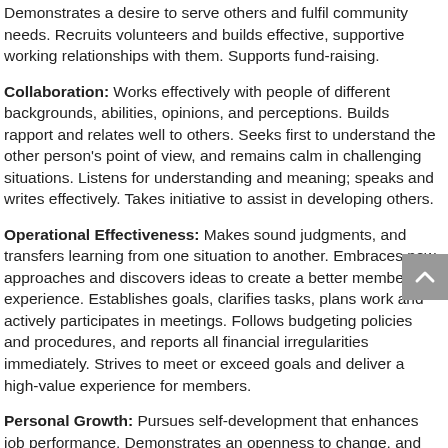Demonstrates a desire to serve others and fulfil community needs. Recruits volunteers and builds effective, supportive working relationships with them. Supports fund-raising.
Collaboration: Works effectively with people of different backgrounds, abilities, opinions, and perceptions. Builds rapport and relates well to others. Seeks first to understand the other person's point of view, and remains calm in challenging situations. Listens for understanding and meaning; speaks and writes effectively. Takes initiative to assist in developing others.
Operational Effectiveness: Makes sound judgments, and transfers learning from one situation to another. Embraces new approaches and discovers ideas to create a better member experience. Establishes goals, clarifies tasks, plans work and actively participates in meetings. Follows budgeting policies and procedures, and reports all financial irregularities immediately. Strives to meet or exceed goals and deliver a high-value experience for members.
Personal Growth: Pursues self-development that enhances job performance. Demonstrates an openness to change, and seeks opportunities in the change process. Accurately assesses personal